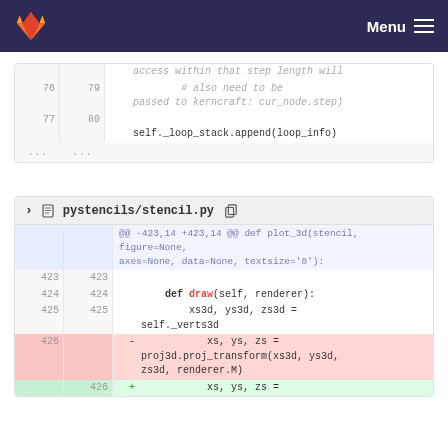Menu
access within that step length will
    # also need to be passed to kerncraft: cur_node.step)
76 | 79
77 | 80   self._loop_stack.append(loop_info)
... | ...
pystencils/stencil.py
@@ -423,14 +423,14 @@ def plot_3d(stencil, figure=None, axes=None, data=None, textsize='8'):
423 | 423
424 | 424   def draw(self, renderer):
425 | 425       xs3d, ys3d, zs3d = self._verts3d
426 |     -   xs, ys, zs = proj3d.proj_transform(xs3d, ys3d, zs3d, renderer.M)
    | 426 +   xs, ys, zs =